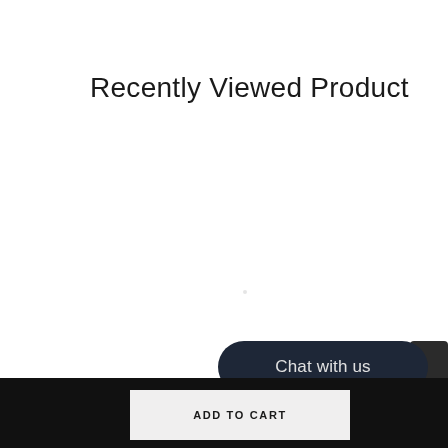Recently Viewed Product
ADD TO CART
Chat with us